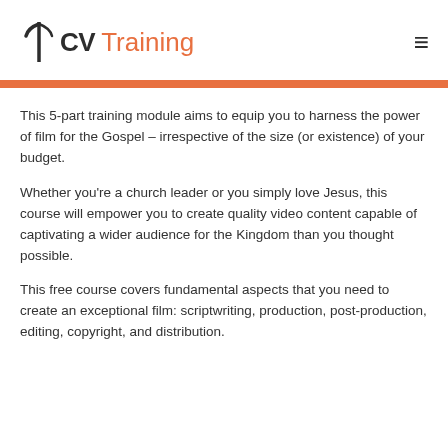CV Training
This 5-part training module aims to equip you to harness the power of film for the Gospel – irrespective of the size (or existence) of your budget.
Whether you're a church leader or you simply love Jesus, this course will empower you to create quality video content capable of captivating a wider audience for the Kingdom than you thought possible.
This free course covers fundamental aspects that you need to create an exceptional film: scriptwriting, production, post-production, editing, copyright, and distribution.